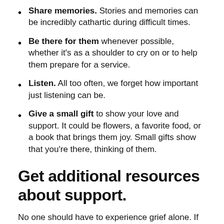Share memories. Stories and memories can be incredibly cathartic during difficult times.
Be there for them whenever possible, whether it's as a shoulder to cry on or to help them prepare for a service.
Listen. All too often, we forget how important just listening can be.
Give a small gift to show your love and support. It could be flowers, a favorite food, or a book that brings them joy. Small gifts show that you're there, thinking of them.
Get additional resources about support.
No one should have to experience grief alone. If you're having a hard time, reach out to friends and family and let